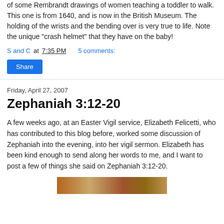of some Rembrandt drawings of women teaching a toddler to walk. This one is from 1640, and is now in the British Museum. The holding of the wrists and the bending over is very true to life. Note the unique "crash helmet" that they have on the baby!
S and C at 7:35 PM    5 comments:
Share
Friday, April 27, 2007
Zephaniah 3:12-20
A few weeks ago, at an Easter Vigil service, Elizabeth Felicetti, who has contributed to this blog before, worked some discussion of Zephaniah into the evening, into her vigil sermon. Elizabeth has been kind enough to send along her words to me, and I want to post a few of things she said on Zephaniah 3:12-20.
[Figure (photo): A thumbnail image, likely a painting or artwork related to the blog post]